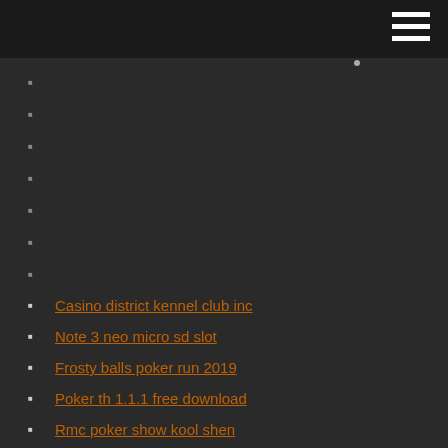Casino district kennel club inc
Note 3 neo micro sd slot
Frosty balls poker run 2019
Poker th 1.1.1 free download
Rmc poker show kool shen
What is a slot wide receiver